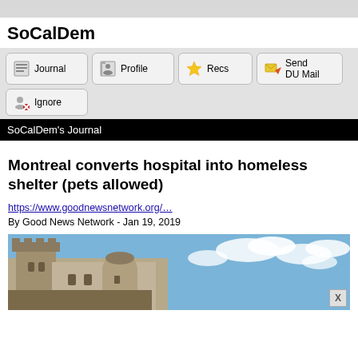SoCalDem
[Figure (screenshot): Navigation buttons: Journal, Profile, Recs, Send DU Mail, Ignore]
SoCalDem's Journal
Montreal converts hospital into homeless shelter (pets allowed)
https://www.goodnewsnetwork.org/…
By Good News Network - Jan 19, 2019
[Figure (photo): Photo of a castle-like stone building with turrets against a blue sky with clouds]